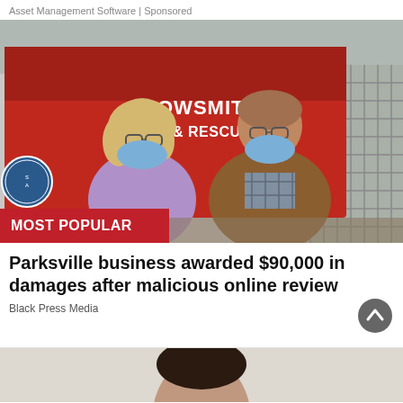Asset Management Software | Sponsored
[Figure (photo): Two people wearing blue face masks standing in front of a red Bowsmith Search & Rescue vehicle. The woman on the left wears a lavender fleece and holds a piece of paper. The man on the right wears a brown leather jacket over a plaid shirt. A metal gate and industrial building are visible in the background.]
MOST POPULAR
Parksville business awarded $90,000 in damages after malicious online review
Black Press Media